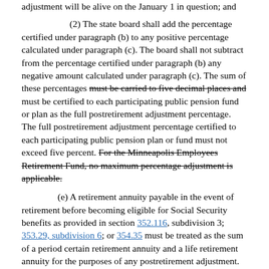adjustment will be alive on the January 1 in question; and
(2) The state board shall add the percentage certified under paragraph (b) to any positive percentage calculated under paragraph (c). The board shall not subtract from the percentage certified under paragraph (b) any negative amount calculated under paragraph (c). The sum of these percentages must be carried to five decimal places and must be certified to each participating public pension fund or plan as the full postretirement adjustment percentage. The full postretirement adjustment percentage certified to each participating public pension plan or fund must not exceed five percent. For the Minneapolis Employees Retirement Fund, no maximum percentage adjustment is applicable.
(e) A retirement annuity payable in the event of retirement before becoming eligible for Social Security benefits as provided in section 352.116, subdivision 3; 353.29, subdivision 6; or 354.35 must be treated as the sum of a period certain retirement annuity and a life retirement annuity for the purposes of any postretirement adjustment. The period certain retirement annuity plus the life retirement annuity must be the annuity amount payable until age 62 or 65, whichever applies. A postretirement adjustment granted